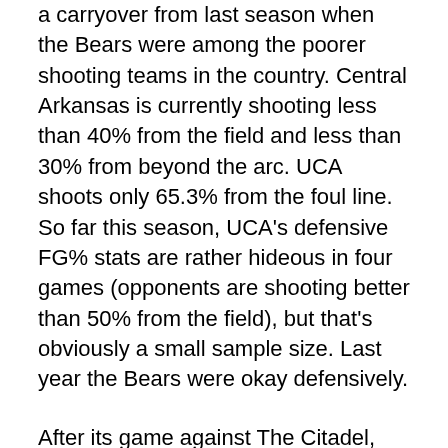a carryover from last season when the Bears were among the poorer shooting teams in the country. Central Arkansas is currently shooting less than 40% from the field and less than 30% from beyond the arc. UCA shoots only 65.3% from the foul line. So far this season, UCA's defensive FG% stats are rather hideous in four games (opponents are shooting better than 50% from the field), but that's obviously a small sample size. Last year the Bears were okay defensively.
After its game against The Citadel, the Bears will play on Sunday against South Dakota State.
Grambling State is famous for its football. Basketball, not so much (although the school does have one famous hoops alum, Willis Reed). Grambling has been in Division I since 1978 and has never qualified for the NCAA